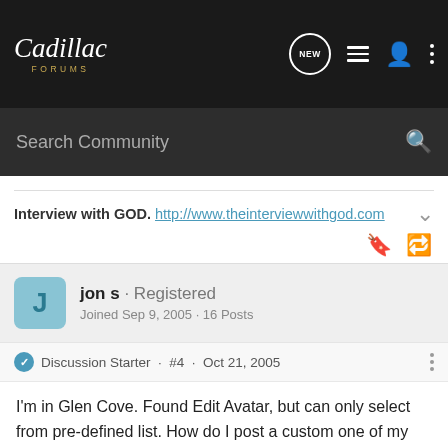Cadillac Forums
Search Community
Interview with GOD. http://www.theinterviewwithgod.com
jon s · Registered
Joined Sep 9, 2005 · 16 Posts
Discussion Starter · #4 · Oct 21, 2005
I'm in Glen Cove. Found Edit Avatar, but can only select from pre-defined list. How do I post a custom one of my car. No option appears to brouse. Am I missing something?